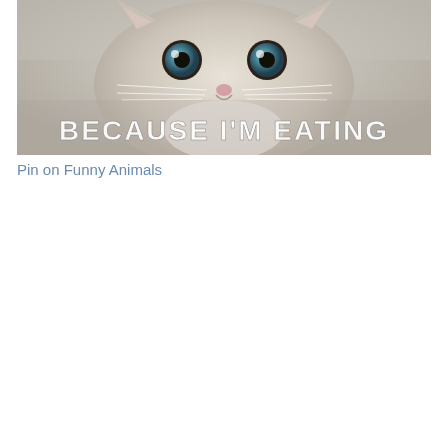[Figure (photo): A cat meme image showing a close-up of a white/light gray cat with wide eyes looking at the camera. Bold white text overlaid on the lower portion reads 'BECAUSE I'M EATING']
Pin on Funny Animals